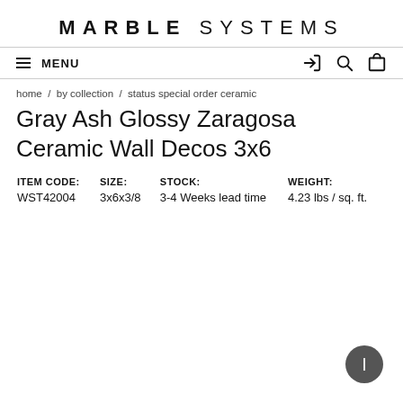MARBLE SYSTEMS
≡ MENU
home / by collection / status special order ceramic
Gray Ash Glossy Zaragosa Ceramic Wall Decos 3x6
| ITEM CODE: | SIZE: | STOCK: | WEIGHT: |
| --- | --- | --- | --- |
| WST42004 | 3x6x3/8 | 3-4 Weeks lead time | 4.23 lbs / sq. ft. |